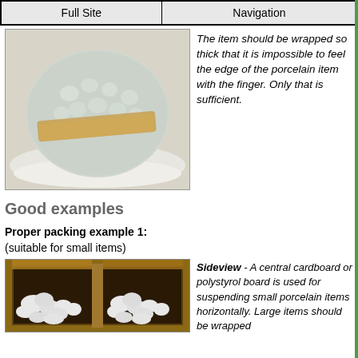| Full Site | Navigation |
| --- | --- |
[Figure (photo): A porcelain item wrapped thickly in bubble wrap secured with tan packing tape, placed on white packing paper.]
The item should be wrapped so thick that it is impossible to feel the edge of the porcelain item with the finger. Only that is sufficient.
Good examples
Proper packing example 1:
(suitable for small items)
[Figure (photo): Sideview of an open cardboard box with a central cardboard divider and small white foam/polystyrol pieces (packing peanuts) visible inside.]
Sideview - A central cardboard or polystyrol board is used for suspending small porcelain items horizontally. Large items should be wrapped...